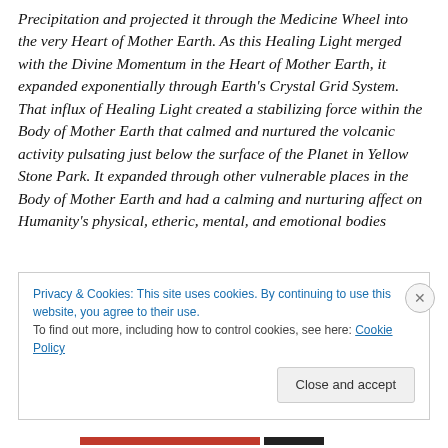Precipitation and projected it through the Medicine Wheel into the very Heart of Mother Earth. As this Healing Light merged with the Divine Momentum in the Heart of Mother Earth, it expanded exponentially through Earth's Crystal Grid System. That influx of Healing Light created a stabilizing force within the Body of Mother Earth that calmed and nurtured the volcanic activity pulsating just below the surface of the Planet in Yellow Stone Park. It expanded through other vulnerable places in the Body of Mother Earth and had a calming and nurturing affect on Humanity's physical, etheric, mental, and emotional bodies
Privacy & Cookies: This site uses cookies. By continuing to use this website, you agree to their use.
To find out more, including how to control cookies, see here: Cookie Policy
Close and accept